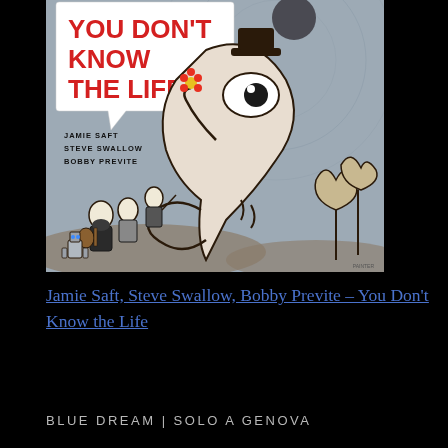[Figure (illustration): Album cover art for 'You Don't Know the Life' by Jamie Saft, Steve Swallow, Bobby Previte. Gray background with cartoon illustration of quirky characters including musicians, robots, and a large stylized creature with one eye holding a flower. Red speech-bubble text reads 'YOU DON'T KNOW THE LIFE'. Artist names listed: Jamie Saft, Steve Swallow, Bobby Previte.]
Jamie Saft, Steve Swallow, Bobby Previte – You Don't Know the Life
BLUE DREAM | SOLO A GENOVA